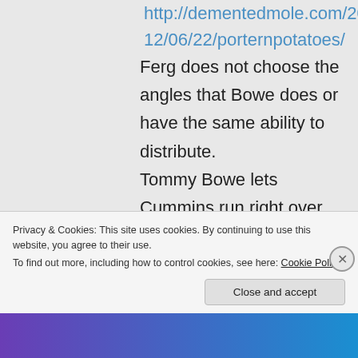http://dementedmole.com/2012/06/22/porternpotatoes/
Ferg does not choose the angles that Bowe does or have the same ability to distribute.
Tommy Bowe lets Cummins run right over him (I thought it was a try) in exactly the same way that Jacques Fourie did in the second test
Privacy & Cookies: This site uses cookies. By continuing to use this website, you agree to their use.
To find out more, including how to control cookies, see here: Cookie Policy